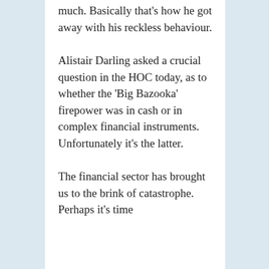much. Basically that's how he got away with his reckless behaviour.
Alistair Darling asked a crucial question in the HOC today, as to whether the 'Big Bazooka' firepower was in cash or in complex financial instruments. Unfortunately it's the latter.
The financial sector has brought us to the brink of catastrophe. Perhaps it's time